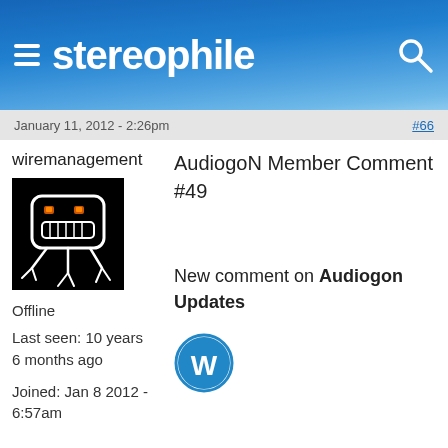stereophile
January 11, 2012 - 2:26pm
#66
wiremanagement
AudiogoN Member Comment #49
[Figure (illustration): Pixel art avatar: dark background with white outlined robot/creature face with orange glowing eyes and tentacle-like appendages]
Offline
Last seen: 10 years 6 months ago
Joined: Jan 8 2012 - 6:57am
New comment on Audiogon Updates
[Figure (logo): WordPress logo - blue circle with W]